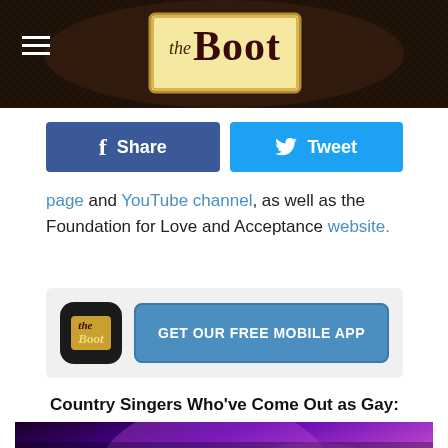the Boot
[Figure (screenshot): Facebook Share button (blue) and Twitter Tweet button (light blue)]
page and YouTube channel, as well as the Foundation for Love and Acceptance website.
[Figure (infographic): The Boot mobile app promotional banner with app icon and 'GET OUR FREE MOBILE APP' button]
Country Singers Who've Come Out as Gay:
[Figure (photo): A male performer singing into a microphone on a purple-lit stage]